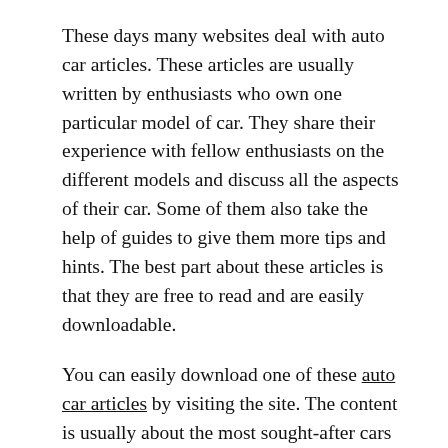These days many websites deal with auto car articles. These articles are usually written by enthusiasts who own one particular model of car. They share their experience with fellow enthusiasts on the different models and discuss all the aspects of their car. Some of them also take the help of guides to give them more tips and hints. The best part about these articles is that they are free to read and are easily downloadable.
You can easily download one of these auto car articles by visiting the site. The content is usually about the most sought-after cars of each season. The information given may not always be 100% true, but it gives you a general idea of what the car is like. Most of the car reviews mention the prices as well as the accessories included in the cars. They also give a detailed comparison between the cars and highlight some of the key features.